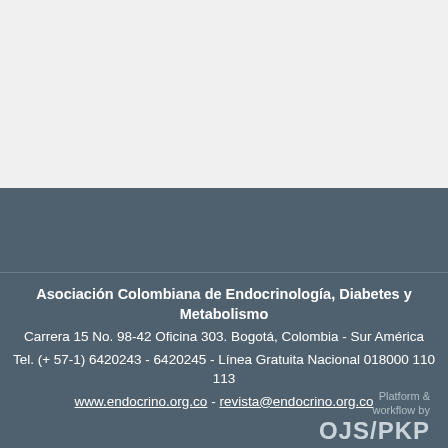[Figure (other): Light gray top section background]
[Figure (other): Dark slate gray bottom section background]
Asociación Colombiana de Endocrinología, Diabetes y Metabolismo
Carrera 15 No. 98-42 Oficina 303. Bogotá, Colombia - Sur América
Tel. (+ 57-1) 6420243 - 6420245 - Línea Gratuita Nacional 018000 110 113
www.endocrino.org.co - revista@endocrino.org.co
Platform &
workflow by
OJS/PKP